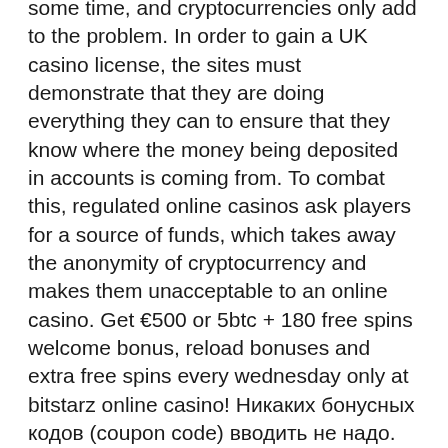some time, and cryptocurrencies only add to the problem. In order to gain a UK casino license, the sites must demonstrate that they are doing everything they can to ensure that they know where the money being deposited in accounts is coming from. To combat this, regulated online casinos ask players for a source of funds, which takes away the anonymity of cryptocurrency and makes them unacceptable to an online casino. Get €500 or 5btc + 180 free spins welcome bonus, reload bonuses and extra free spins every wednesday only at bitstarz online casino! Никаких бонусных кодов (coupon code) вводить не надо. Бонус без депозита за регистрацию в bitstarz casino в размере 25 бесплатных. — bitstarz casino бездепозитный бонус – 25 фриспинов за регистрацию. Bitstarz no deposit bonus code 2021: mobile gambling. Здесь собраны все актуальные бонусы за регистрацию без депозита. Удобное